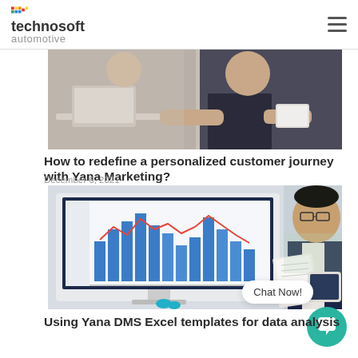technosoft automotive
[Figure (photo): Two people at a desk with a laptop and tablet, working together in a professional setting.]
How to redefine a personalized customer journey with Yana Marketing?
December 6, 2021
[Figure (photo): A man in a suit with glasses reviewing documents next to a desktop monitor showing a bar chart, with scissors on the desk.]
Using Yana DMS Excel templates for data analysis